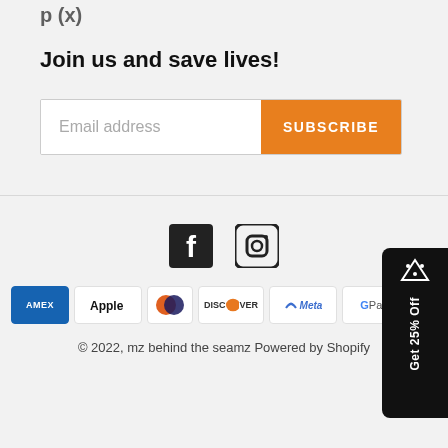p (x)
Join us and save lives!
[Figure (other): Email subscription form with text field 'Email address' and orange SUBSCRIBE button]
[Figure (other): Social media icons: Facebook and Instagram]
[Figure (other): Payment method icons: American Express, Apple Pay, Diners Club, Discover, Meta Pay, Google Pay, Mastercard, Shop Pay, Visa]
© 2022, mz behind the seamz Powered by Shopify